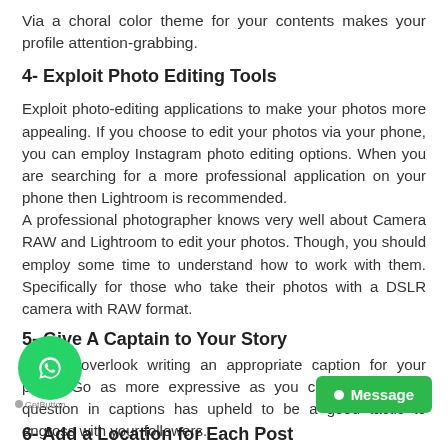Via a choral color theme for your contents makes your profile attention-grabbing.
4- Exploit Photo Editing Tools
Exploit photo-editing applications to make your photos more appealing. If you choose to edit your photos via your phone, you can employ Instagram photo editing options. When you are searching for a more professional application on your phone then Lightroom is recommended. A professional photographer knows very well about Camera RAW and Lightroom to edit your photos. Though, you should employ some time to understand how to work with them. Specifically for those who take their photos with a DSLR camera with RAW format.
5- Give A Captain to Your Story
Do not overlook writing an appropriate caption for your posts. Go as more expressive as you can. Enquiring a question in captions has upheld to be a good tactic to engross with your followers.
6- Add a Location for Each Post